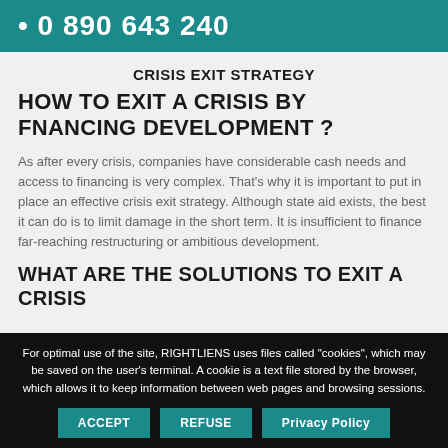• 0 890 643 240
CRISIS EXIT STRATEGY
HOW TO EXIT A CRISIS BY FNANCING DEVELOPMENT ?
As after every crisis, companies have considerable cash needs and access to financing is very complex. That's why it is important to put in place an effective crisis exit strategy. Although state aid exists, the best it can do is to limit damage in the short term. It is insufficient to finance far-reaching restructuring or ambitious development.
WHAT ARE THE SOLUTIONS TO EXIT A CRISIS
For optimal use of the site, RIGHTLIENS uses files called "cookies", which may be saved on the user's terminal. A cookie is a text file stored by the browser, which allows it to keep information between web pages and browsing sessions.